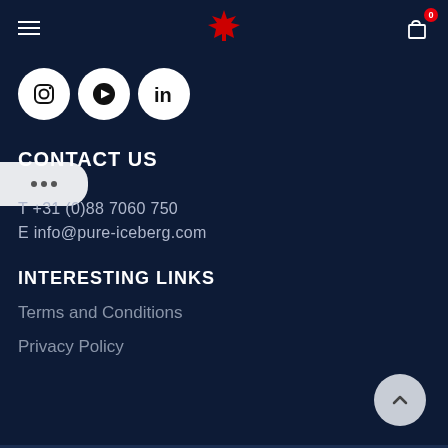Navigation bar with hamburger menu, maple leaf logo, and cart icon with badge 0
[Figure (illustration): Social media icons: Instagram, YouTube, LinkedIn in white circles on dark navy background]
CONTACT US
T +31 (0)88 7060 750
E info@pure-iceberg.com
INTERESTING LINKS
Terms and Conditions
Privacy Policy